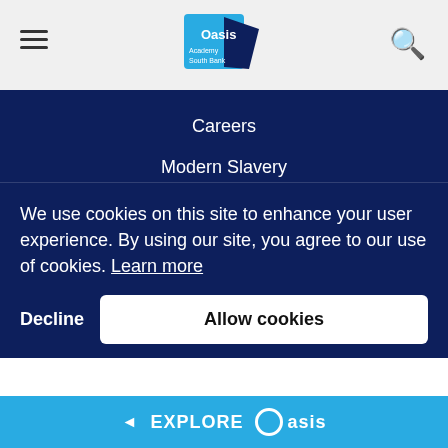Oasis Academy South Bank — navigation header with hamburger menu and search icon
Careers
Modern Slavery
Anti-racism Statement of Intent
Accessibility
Compliance
Site Map
We use cookies on this site to enhance your user experience. By using our site, you agree to our use of cookies. Learn more
Decline | Allow cookies
◄ EXPLORE Oasis